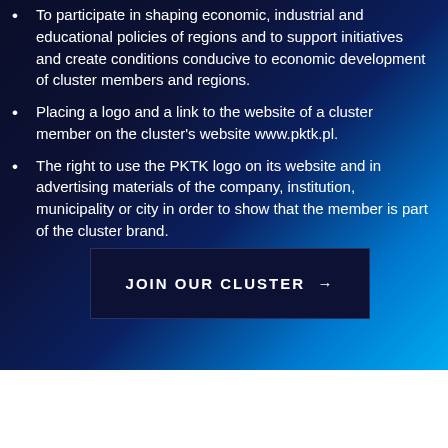To participate in shaping economic, industrial and educational policies of regions and to support initiatives and create conditions conducive to economic development of cluster members and regions.
Placing a logo and a link to the website of a cluster member on the cluster's website www.pktk.pl.
The right to use the PKTK logo on its website and in advertising materials of the company, institution, municipality or city in order to show that the member is part of the cluster brand.
JOIN OUR CLUSTER →